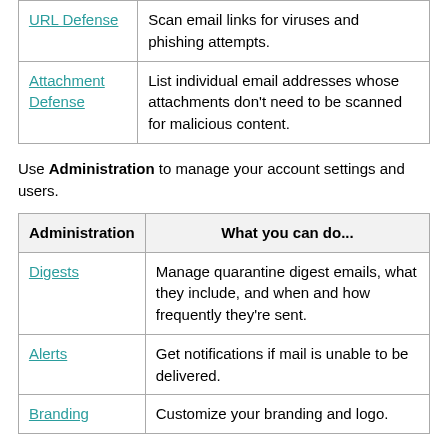|  |  |
| --- | --- |
| URL Defense | Scan email links for viruses and phishing attempts. |
| Attachment Defense | List individual email addresses whose attachments don't need to be scanned for malicious content. |
Use Administration to manage your account settings and users.
| Administration | What you can do... |
| --- | --- |
| Digests | Manage quarantine digest emails, what they include, and when and how frequently they're sent. |
| Alerts | Get notifications if mail is unable to be delivered. |
| Branding | Customize your branding and logo. |